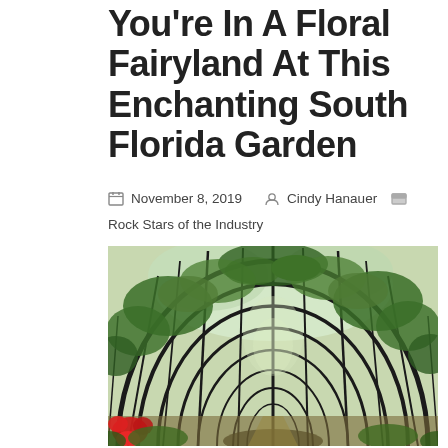You're In A Floral Fairyland At This Enchanting South Florida Garden
November 8, 2019   Cindy Hanauer   Rock Stars of the Industry
[Figure (photo): A tunnel-like metal trellis archway covered with lush green climbing vines and plants, forming a long corridor path. The HDR-style photograph shows the curved iron framework overhead with green foliage and glimpses of sky, with red tropical flowers visible at the bottom left and more garden plants below.]